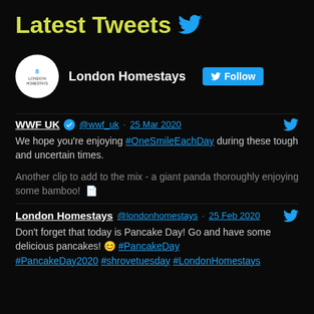Latest Tweets 🐦
[Figure (screenshot): London Homestays profile row with avatar, name, and Follow button]
WWF UK @wwf_uk · 25 Mar 2020
We hope you're enjoying #OneSmileEachDay during these tough and uncertain times.

Another clip to add to the mix - a giant panda thoroughly enjoying some bamboo! 📋
London Homestays @londonhomestays · 25 Feb 2020
Don't forget that today is Pancake Day! Go and have some delicious pancakes! 😊 #PancakeDay #PancakeDay2020 #shrovetuesday #LondonHomestays